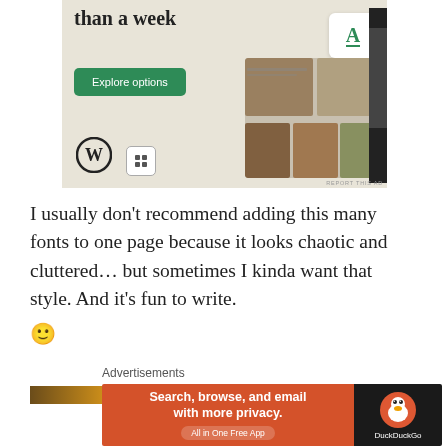[Figure (screenshot): WordPress advertisement banner with beige/cream background showing 'than a week' headline text, a green 'Explore options' button, WordPress logo (W in circle), a small icon box, and a partial screenshot of a website/app on the right side showing food images and an 'A' logo card. 'REPORT THIS AD' text in bottom right corner.]
I usually don’t recommend adding this many fonts to one page because it looks chaotic and cluttered… but sometimes I kinda want that style. And it’s fun to write. 🙂
[Figure (photo): Partial bottom strip showing a textured golden/brown surface (possibly animal fur or similar texture).]
[Figure (screenshot): DuckDuckGo advertisement banner. Left orange/red section with bold white text 'Search, browse, and email with more privacy.' and a rounded pill button 'All in One Free App'. Right dark/black section with DuckDuckGo duck logo and 'DuckDuckGo' text in white. Below is an 'Advertisements' label.]